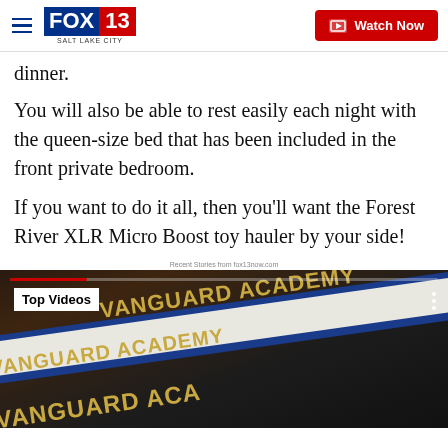FOX 13 Salt Lake City — Watch Now
dinner.
You will also be able to rest easily each night with the queen-size bed that has been included in the front private bedroom.
If you want to do it all, then you'll want the Forest River XLR Micro Boost toy hauler by your side!
Recent Stories from fox13now.com
[Figure (screenshot): Video player showing 'Top Videos' badge with Vanguard Academy books/signage in background]